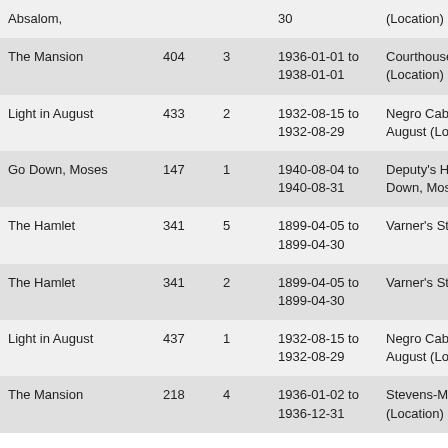| Book | Page | Chapter | Date Range | Location |
| --- | --- | --- | --- | --- |
| Absalom, |  |  | 30 | (Location) |
| The Mansion | 404 | 3 | 1936-01-01 to 1938-01-01 | Courthouse and Square (Location) |
| Light in August | 433 | 2 | 1932-08-15 to 1932-08-29 | Negro Cabin 2 in Light August (Location) |
| Go Down, Moses | 147 | 1 | 1940-08-04 to 1940-08-31 | Deputy's House in "Pa Down, Moses in Go Do |
| The Hamlet | 341 | 5 | 1899-04-05 to 1899-04-30 | Varner's Store in The H |
| The Hamlet | 341 | 2 | 1899-04-05 to 1899-04-30 | Varner's Store in The H |
| Light in August | 437 | 1 | 1932-08-15 to 1932-08-29 | Negro Cabin 2 in Light August (Location) |
| The Mansion | 218 | 4 | 1936-01-02 to 1936-12-31 | Stevens-Mallison House (Location) |